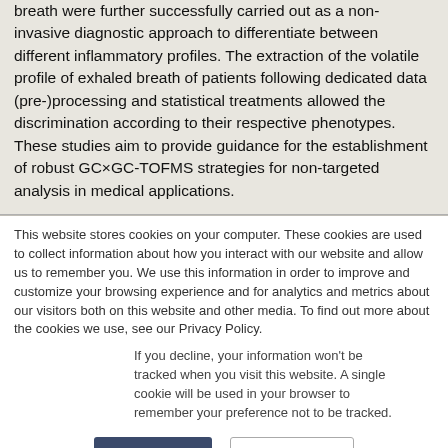analysis of volatile organic compounds (VOCs) from breath were further successfully carried out as a non-invasive diagnostic approach to differentiate between different inflammatory profiles. The extraction of the volatile profile of exhaled breath of patients following dedicated data (pre-)processing and statistical treatments allowed the discrimination according to their respective phenotypes. These studies aim to provide guidance for the establishment of robust GC×GC-TOFMS strategies for non-targeted analysis in medical applications.
This website stores cookies on your computer. These cookies are used to collect information about how you interact with our website and allow us to remember you. We use this information in order to improve and customize your browsing experience and for analytics and metrics about our visitors both on this website and other media. To find out more about the cookies we use, see our Privacy Policy.
If you decline, your information won't be tracked when you visit this website. A single cookie will be used in your browser to remember your preference not to be tracked.